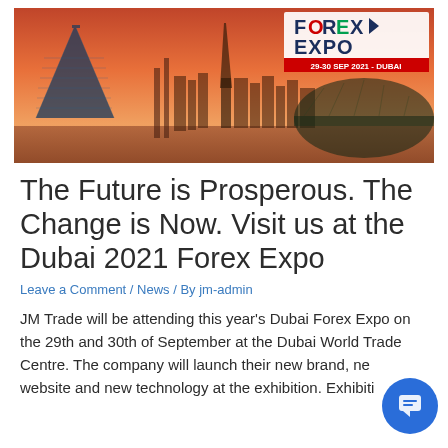[Figure (photo): Dubai skyline at sunset/dusk with orange sky, featuring Burj Al Arab hotel on the left and city skyscrapers including Burj Khalifa in background. FOREX EXPO logo with text '29-30 SEP 2021 - DUBAI' overlaid in top right corner.]
The Future is Prosperous. The Change is Now. Visit us at the Dubai 2021 Forex Expo
Leave a Comment / News / By jm-admin
JM Trade will be attending this year's Dubai Forex Expo on the 29th and 30th of September at the Dubai World Trade Centre. The company will launch their new brand, new website and new technology at the exhibition. Exhibiting at